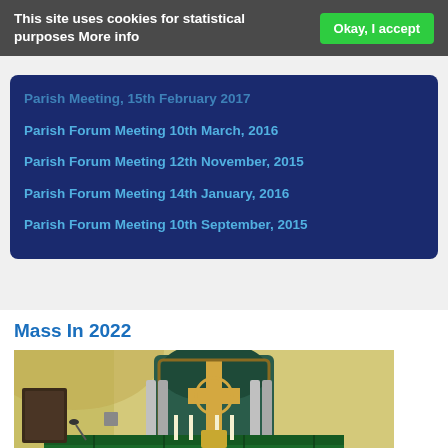This site uses cookies for statistical purposes More info
Parish Meeting, 15th February 2017
Parish Forum Meeting 10th March, 2016
Parish Forum Meeting 12th November, 2015
Parish Forum Meeting 14th January, 2016
Parish Forum Meeting 10th September, 2015
Mass In 2022
[Figure (photo): Interior of a Catholic church showing an altar with a green cloth, decorative mosaic arch, Celtic cross, columns, and yellow painted walls.]